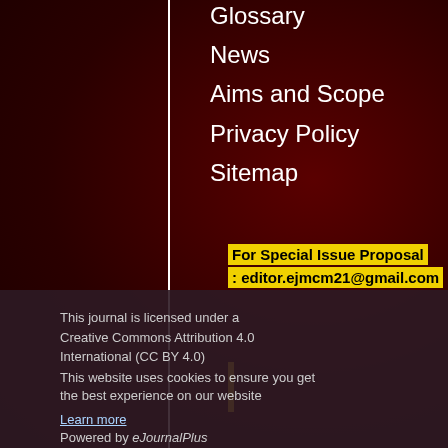Glossary
News
Aims and Scope
Privacy Policy
Sitemap
For Special Issue Proposal : editor.ejmcm21@gmail.com
This journal is licensed under a Creative Commons Attribution 4.0 International (CC BY 4.0)
Powered by eJournalPlus
This website uses cookies to ensure you get the best experience on our website Learn more
Got it!